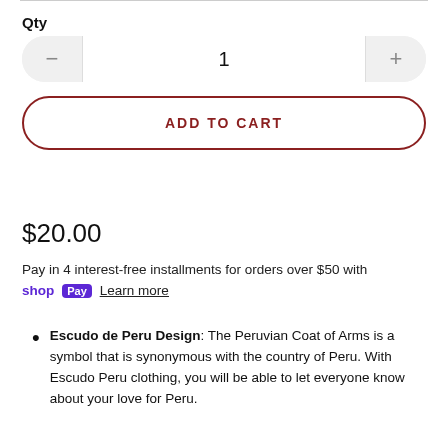Qty
— 1 +
ADD TO CART
$20.00
Pay in 4 interest-free installments for orders over $50 with shop Pay Learn more
Escudo de Peru Design: The Peruvian Coat of Arms is a symbol that is synonymous with the country of Peru. With Escudo Peru clothing, you will be able to let everyone know about your love for Peru.